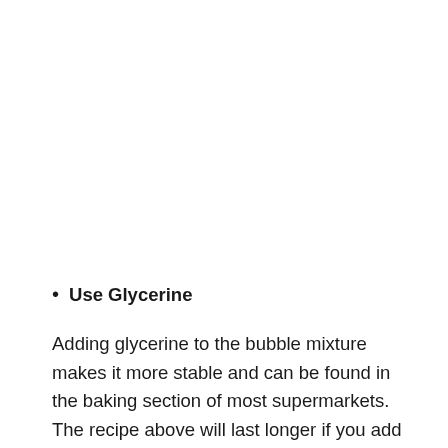Use Glycerine
Adding glycerine to the bubble mixture makes it more stable and can be found in the baking section of most supermarkets. The recipe above will last longer if you add 1 tablespoon of glycerin.